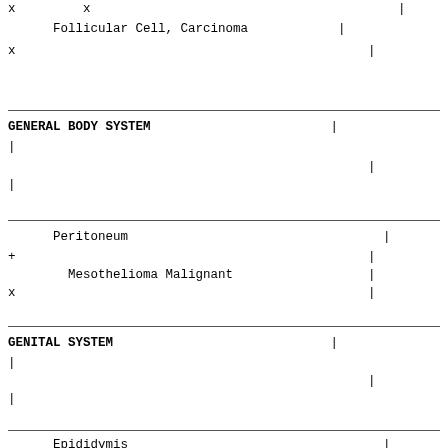x         x                                    |
Follicular Cell, Carcinoma             |
x                                          |
GENERAL BODY SYSTEM                        |
|
|
|
Peritoneum                             |
+                                          |
Mesothelioma Malignant                 |
x                                          |
GENITAL SYSTEM                             |
|
|
|
Epididymis                             |